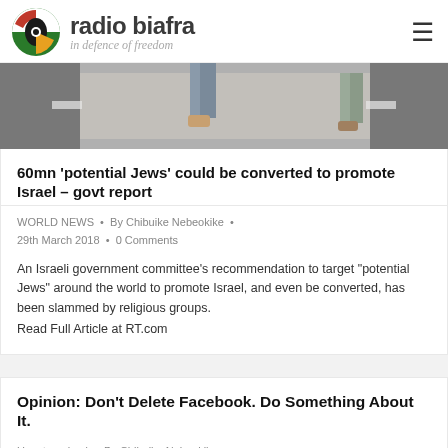radio biafra — in defence of freedom
[Figure (photo): Street-level photo showing people walking on a paved pathway, partial view of legs and pavement.]
60mn ‘potential Jews’ could be converted to promote Israel – govt report
WORLD NEWS • By Chibuike Nebeokike • 29th March 2018 • 0 Comments
An Israeli government committee's recommendation to target “potential Jews” around the world to promote Israel, and even be converted, has been slammed by religious groups.
Read Full Article at RT.com
Opinion: Don’t Delete Facebook. Do Something About It.
Uncategorised • By Chibuike Nebeokike •